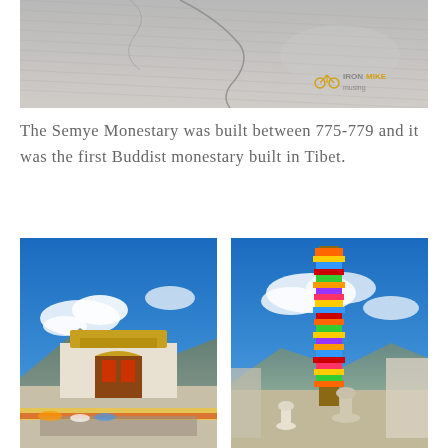[Figure (photo): Close-up photo of a cracked concrete or stone surface with striations, with an 'Iron Mike Musing' logo watermark in the bottom right corner.]
The Semye Monestary was built between 775-779 and it was the first Buddist monestary built in Tibet.
[Figure (photo): Photo of a Tibetan Buddhist monastery building with ornate golden roof decorations against a blue sky with mountains in the background.]
[Figure (photo): Photo of a tall colorful prayer flag pole or decorated pillar in a Tibetan monastery courtyard against a blue sky with clouds and mountains.]